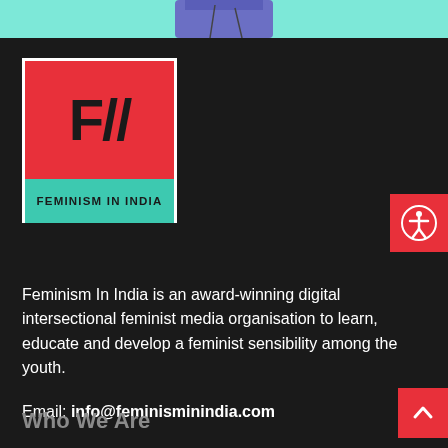[Figure (illustration): Illustration of a person's torso with blue top on teal background, partially visible at top]
[Figure (logo): Feminism In India logo: red square with F// in black bold text, teal bar at bottom with FEMINISM IN INDIA text]
[Figure (other): Accessibility icon button (person in circle) on red background, top right corner]
Feminism In India is an award-winning digital intersectional feminist media organisation to learn, educate and develop a feminist sensibility among the youth.
Email: info@feminisminindia.com
Who We Are
[Figure (other): Back to top button with upward chevron arrow on red background, bottom right]